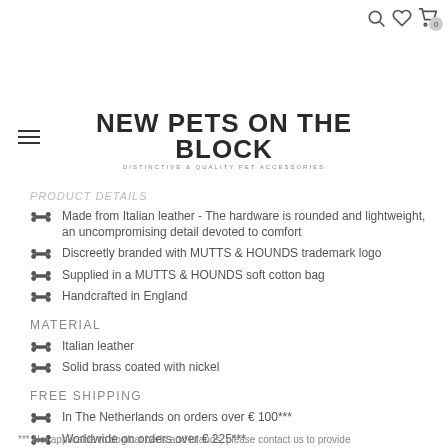NEW PETS ON THE BLOCK — DISTINCTIVE & QUALITY PET ACCESSORIES
PRODUCT DETAILS (partially visible)
Made from Italian leather - The hardware is rounded and lightweight, an uncompromising detail devoted to comfort
Discreetly branded with MUTTS & HOUNDS trademark logo
Supplied in a MUTTS & HOUNDS soft cotton bag
Handcrafted in England
MATERIAL
Italian leather
Solid brass coated with nickel
FREE SHIPPING
In The Netherlands on orders over € 100***
Worldwide on orders over € 225***
*** Not applicable to dog/cat beds and islands, please contact us to provide